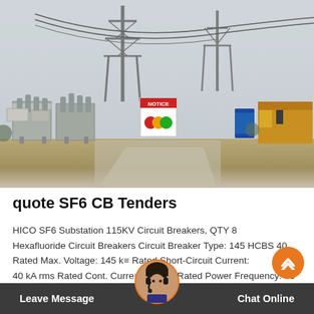[Figure (photo): Outdoor electrical substation with high-voltage SF6 circuit breakers on metal structures, transmission towers in background, a warning/safety sign with colored circles in center, yellow construction equipment at right, blue drum, overcast sky, dirt ground.]
quote SF6 CB Tenders
HICO SF6 Substation 115KV Circuit Breakers, QTY 8 Hexafluoride Circuit Breakers Circuit Breaker Type: 145 HCBS 40 Rated Max. Voltage: 145 k Rated Short-Circuit Current: 40 kA rms Rated Cont. Curre 0 A, rms Rated Power Frequency: 60 Hz Rated Full Wave Lightning Impulse Withstand